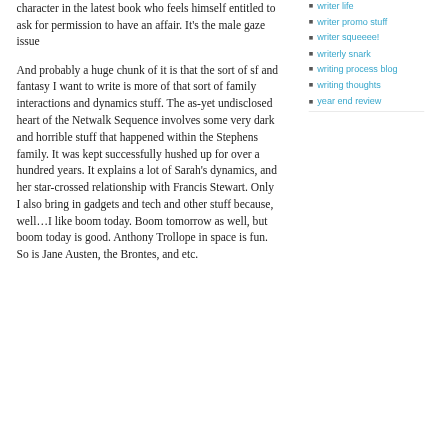character in the latest book who feels himself entitled to ask for permission to have an affair. It's the male gaze issue
And probably a huge chunk of it is that the sort of sf and fantasy I want to write is more of that sort of family interactions and dynamics stuff. The as-yet undisclosed heart of the Netwalk Sequence involves some very dark and horrible stuff that happened within the Stephens family. It was kept successfully hushed up for over a hundred years. It explains a lot of Sarah's dynamics, and her star-crossed relationship with Francis Stewart. Only I also bring in gadgets and tech and other stuff because, well…I like boom today. Boom tomorrow as well, but boom today is good. Anthony Trollope in space is fun. So is Jane Austen, the Brontes, and etc.
writer life
writer promo stuff
writer squeeee!
writerly snark
writing process blog
writing thoughts
year end review